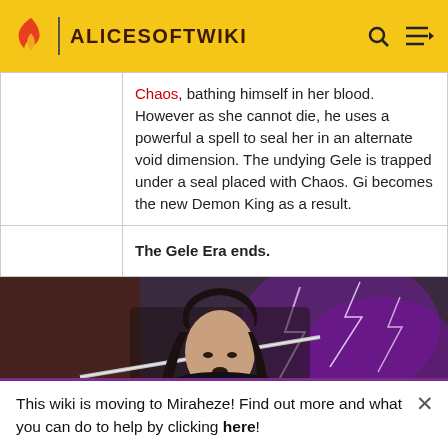ALICESOFTWIKI
|  |  |
| --- | --- |
|  | Chaos, bathing himself in her blood. However as she cannot die, he uses a powerful a spell to seal her in an alternate void dimension. The undying Gele is trapped under a seal placed with Chaos. Gi becomes the new Demon King as a result. |
|  | The Gele Era ends. |
[Figure (illustration): Anime/manga style illustration of a dark-haired male warrior wielding a sword with purple lightning in the background]
This wiki is moving to Miraheze! Find out more and what you can do to help by clicking here!